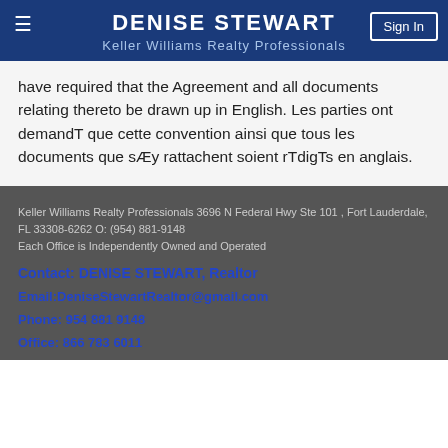DENISE STEWART
Keller Williams Realty Professionals
have required that the Agreement and all documents relating thereto be drawn up in English. Les parties ont demandT que cette convention ainsi que tous les documents que sÆy rattachent soient rTdigTs en anglais.
Keller Williams Realty Professionals 3696 N Federal Hwy Ste 101 , Fort Lauderdale, FL 33308-6262 O: (954) 881-9148
Each Office is Independently Owned and Operated
Contact: DENISE STEWART, Realtor
Email:DeniseStewartRealtor@gmail.com
Phone: 954 881 9148
Office: 866 783 6011